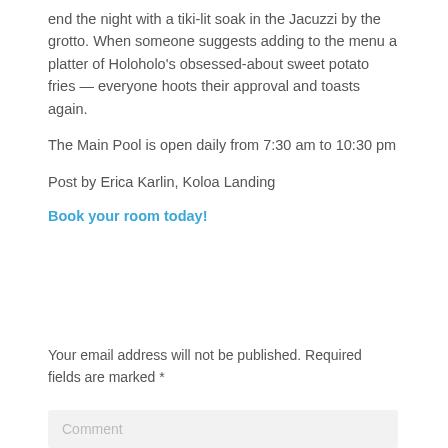end the night with a tiki-lit soak in the Jacuzzi by the grotto. When someone suggests adding to the menu a platter of Holoholo's obsessed-about sweet potato fries — everyone hoots their approval and toasts again.
The Main Pool is open daily from 7:30 am to 10:30 pm
Post by Erica Karlin, Koloa Landing
Book your room today!
Your email address will not be published. Required fields are marked *
Comment